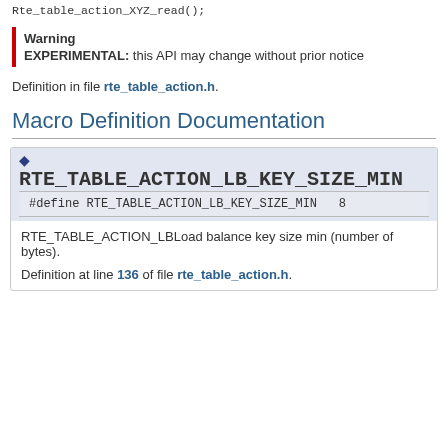Rte_table_action_XYZ_read();
Warning
EXPERIMENTAL: this API may change without prior notice
Definition in file rte_table_action.h.
Macro Definition Documentation
◆ RTE_TABLE_ACTION_LB_KEY_SIZE_MIN
#define RTE_TABLE_ACTION_LB_KEY_SIZE_MIN   8
RTE_TABLE_ACTION_LBLoad balance key size min (number of bytes).
Definition at line 136 of file rte_table_action.h.